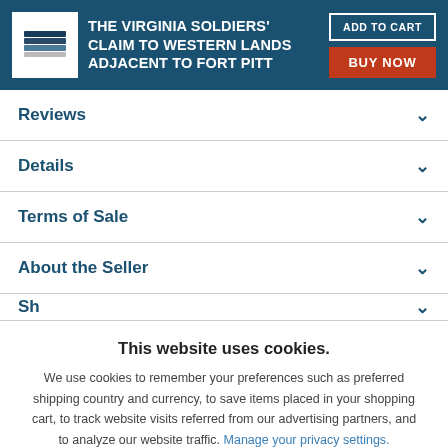THE VIRGINIA SOLDIERS' CLAIM TO WESTERN LANDS ADJACENT TO FORT PITT
Reviews
Details
Terms of Sale
About the Seller
Sh...
This website uses cookies.
We use cookies to remember your preferences such as preferred shipping country and currency, to save items placed in your shopping cart, to track website visits referred from our advertising partners, and to analyze our website traffic. Manage your privacy settings.
AGREE AND CLOSE